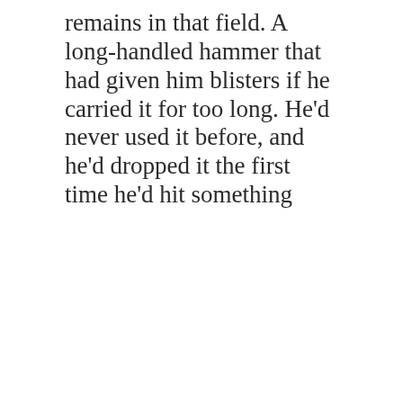remains in that field. A long-handled hammer that had given him blisters if he carried it for too long. He'd never used it before, and he'd dropped it the first time he'd hit something